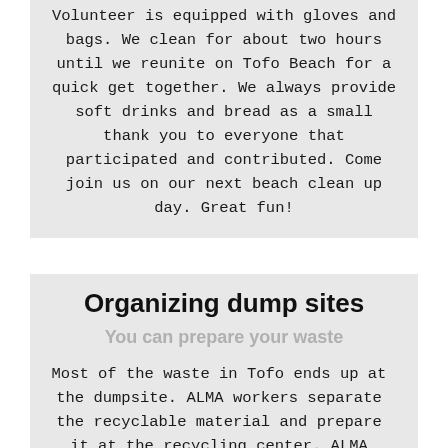Volunteer is equipped with gloves and bags. We clean for about two hours until we reunite on Tofo Beach for a quick get together. We always provide soft drinks and bread as a small thank you to everyone that participated and contributed. Come join us on our next beach clean up day. Great fun!
Organizing dump sites
You can prepare your waste
Most of the waste in Tofo ends up at the dumpsite. ALMA workers separate the recyclable material and prepare it at the recycling center. ALMA ensures that the dump site is organized and safe for all workers. In cooperation with the Municipality ALMA pushes the waste together on a regular base and makes sure the dump stays tidy and organized.